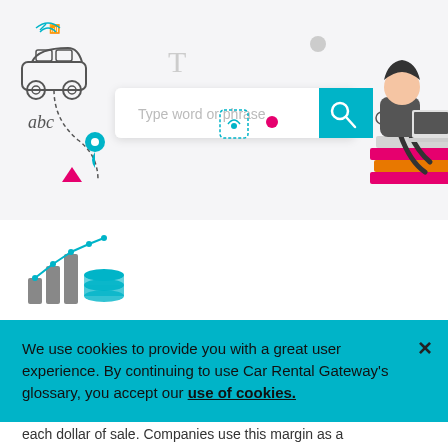[Figure (illustration): Website glossary hero banner with search bar, car icon, abc text, Aa text, location pin, decorative dots, wifi symbol, person sitting on books with laptop, and various abstract icons. Search bar reads 'Type word or phrase' with teal search button.]
[Figure (illustration): Icon showing a bar chart with upward trending line chart overlay and coin stack — representing financial/profit metrics.]
Profit margin
We use cookies to provide you with a great user experience. By continuing to use Car Rental Gateway's glossary, you accept our use of cookies.
each dollar of sale. Companies use this margin as a